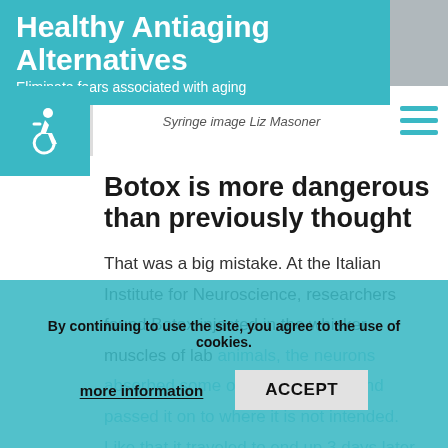Healthy Antiaging Alternatives – Eliminate fears associated with aging
Syringe image Liz Masoner
Botox is more dangerous than previously thought
That was a big mistake. At the Italian Institute for Neuroscience, researchers found Botox injected in the whisker muscles of lab animals, the neurons absorbed some of the substance and passed it on to where it is not intended. Like that it traveled to end up 3 days later in the brainstem. There it
By continuing to use the site, you agree to the use of cookies. more information  ACCEPT